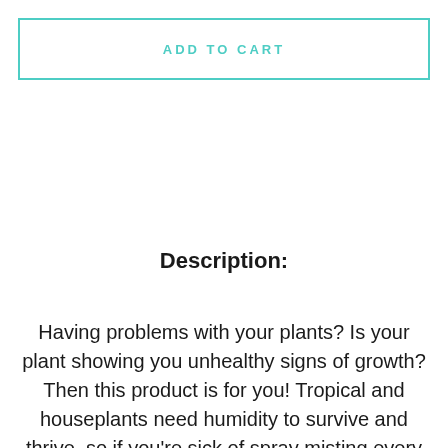ADD TO CART
Description:
Having problems with your plants? Is your plant showing you unhealthy signs of growth? Then this product is for you! Tropical and houseplants need humidity to survive and thrive, so if you're sick of spray misting every day, this double nozzle battery-powered plant humidifier will do all the work for you.